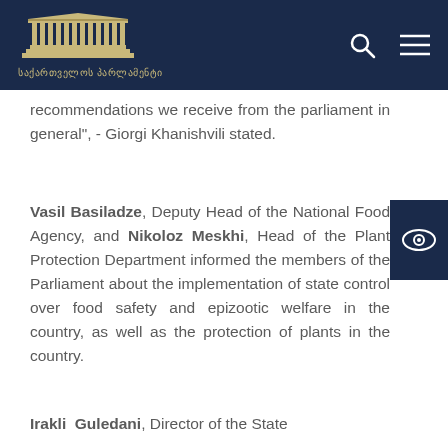საქართველოს პარლამენტი
recommendations we receive from the parliament in general", - Giorgi Khanishvili stated.
Vasil Basiladze, Deputy Head of the National Food Agency, and Nikoloz Meskhi, Head of the Plant Protection Department informed the members of the Parliament about the implementation of state control over food safety and epizootic welfare in the country, as well as the protection of plants in the country.
Irakli Guledani, Director of the State